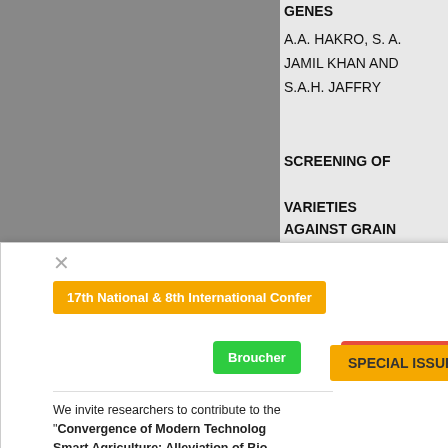GENES
A.A. HAKRO, S. A.
JAMIL KHAN AND
S.A.H. JAFFRY
SCREENING OF
VARIETIES AGAINST GRAIN SORGHUM
A.A. HAKRO, S.
A. H. JAFFRY
PERFORMANCE OF SUGARCANE SOMACLONES
[Figure (screenshot): Modal dialog for 17th National & 8th International Conference with Broucher and Registration Form buttons, and Special Issue badge]
17th National & 8th International Confer
Broucher
Registration F
SPECIAL ISSUE
We invite researchers to contribute to the
"Convergence of Modern Technolog Smart Agriculture: Alleviation of Bio Stresses" which is intended to cover b modern technologies (articiati...